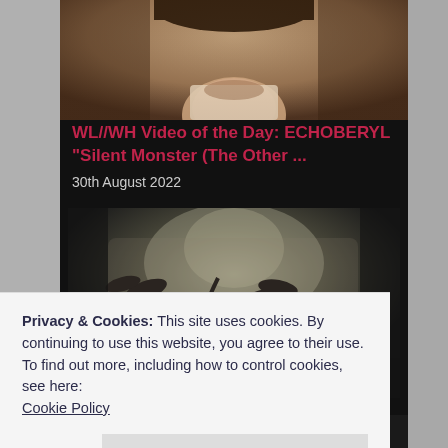[Figure (photo): Sepia-toned portrait photo of a person, cropped to show neck and shoulder area, dark foliage background]
WL//WH Video of the Day: ECHOBERYL "Silent Monster (The Other ...
30th August 2022
[Figure (photo): Dark moody photo showing a plant/branch silhouette against a dim, foggy background with light in the upper center]
Privacy & Cookies: This site uses cookies. By continuing to use this website, you agree to their use.
To find out more, including how to control cookies, see here:
Cookie Policy
Close and accept